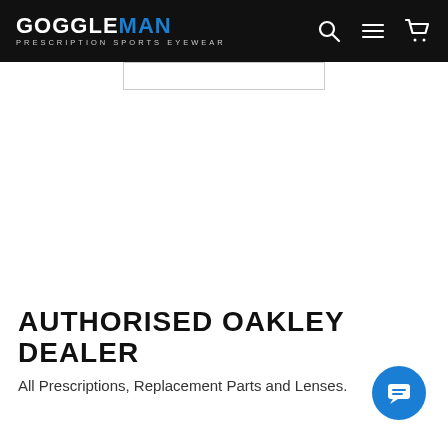GOGGLEMAN - PRESCRIPTION SPORTS EYEWEAR
AUTHORISED OAKLEY DEALER
All Prescriptions, Replacement Parts and Lenses.